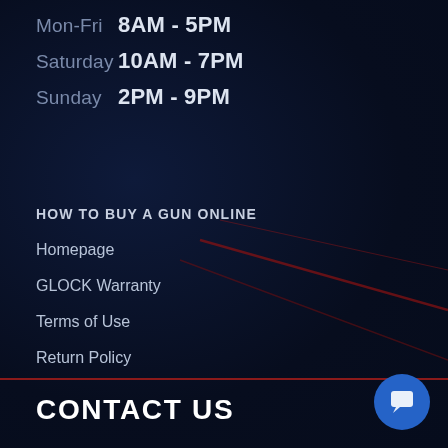Mon-Fri  8AM - 5PM
Saturday  10AM - 7PM
Sunday  2PM - 9PM
HOW TO BUY A GUN ONLINE
Homepage
GLOCK Warranty
Terms of Use
Return Policy
CONTACT US